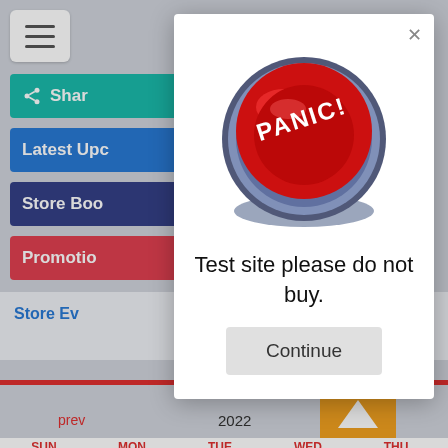[Figure (screenshot): Background of a website with hamburger menu, Share button (teal), Latest Updates button (blue), Store Bookings button (dark blue), Promotions button (red), Store Events section, calendar with 2022 year display, red horizontal bars, orange up-arrow button, prev/next navigation, day headers (SUN MON TUE WED THU), Manage services bar with green progress indicator and badge number 7]
[Figure (screenshot): Modal dialog popup with a red PANIC! button image, text 'Test site please do not buy.' and a Continue button, with X close button in top right]
Test site please do not buy.
Continue